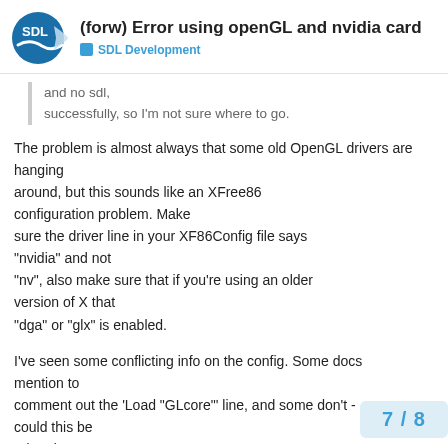(forw) Error using openGL and nvidia card — SDL Development
and no sdl,
successfully, so I'm not sure where to go.
The problem is almost always that some old OpenGL drivers are hanging around, but this sounds like an XFree86 configuration problem. Make sure the driver line in your XF86Config file says "nvidia" and not "nv", also make sure that if you're using an older version of X that "dga" or "glx" is enabled.
I've seen some conflicting info on the config. Some docs mention to comment out the 'Load "GLcore"' line, and some don't - could this be related?
7 / 8